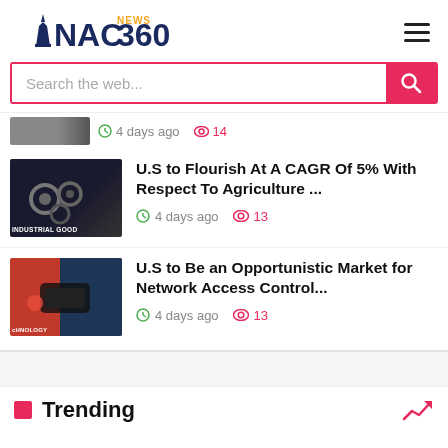[Figure (logo): NAC360 News logo with Eiffel tower icon, blue and orange text]
Search the web...
4 days ago  14
U.S to Flourish At A CAGR Of 5% With Respect To Agriculture ...
4 days ago  13
U.S to Be an Opportunistic Market for Network Access Control...
4 days ago  13
Trending